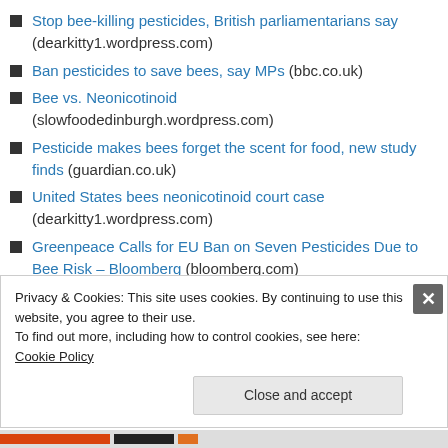Stop bee-killing pesticides, British parliamentarians say (dearkitty1.wordpress.com)
Ban pesticides to save bees, say MPs (bbc.co.uk)
Bee vs. Neonicotinoid (slowfoodedinburgh.wordpress.com)
Pesticide makes bees forget the scent for food, new study finds (guardian.co.uk)
United States bees neonicotinoid court case (dearkitty1.wordpress.com)
Greenpeace Calls for EU Ban on Seven Pesticides Due to Bee Risk – Bloomberg (bloomberg.com)
Privacy & Cookies: This site uses cookies. By continuing to use this website, you agree to their use. To find out more, including how to control cookies, see here: Cookie Policy